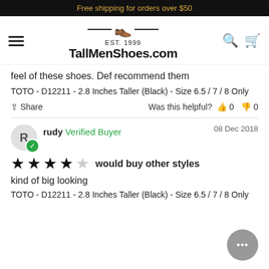Free shipping for orders over $50
[Figure (logo): TallMenShoes.com logo with shoe icon, EST. 1999, hamburger menu, search and cart icons]
feel of these shoes. Def recommend them
TOTO - D12211 - 2.8 Inches Taller (Black) - Size 6.5 / 7 / 8 Only
Share  Was this helpful? 0  0
rudy  Verified Buyer  08 Dec 2018
★★★★☆  would buy other styles
kind of big looking
TOTO - D12211 - 2.8 Inches Taller (Black) - Size 6.5 / 7 / 8 Only